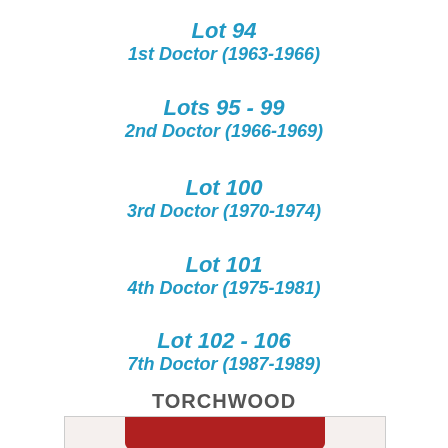Lot 94
1st Doctor (1963-1966)
Lots 95 - 99
2nd Doctor (1966-1969)
Lot 100
3rd Doctor (1970-1974)
Lot 101
4th Doctor (1975-1981)
Lot 102 - 106
7th Doctor (1987-1989)
TORCHWOOD
[Figure (photo): A red costume/jacket displayed on a mannequin, partially visible at the bottom of the page]